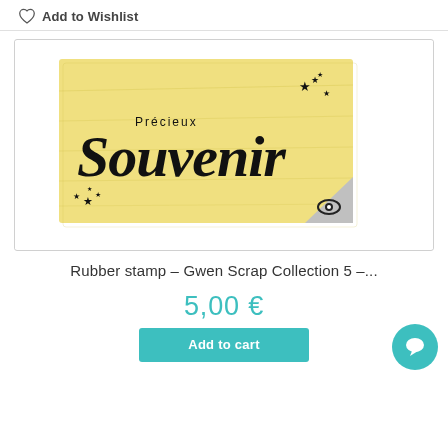Add to Wishlist
[Figure (photo): Rubber stamp product image showing a wooden stamp block with the text 'Précieux Souvenir' in script font, decorated with small stars. There is an eye/magnify icon badge in the bottom right corner of the image frame.]
Rubber stamp – Gwen Scrap Collection 5 –...
5,00 €
Add to cart